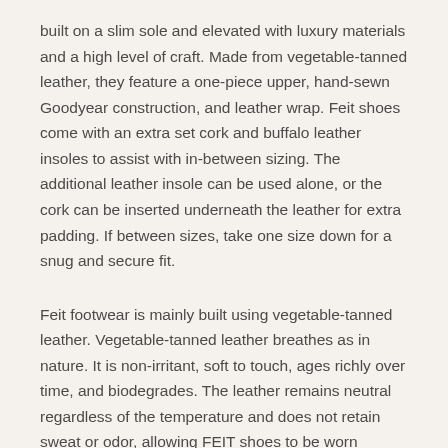built on a slim sole and elevated with luxury materials and a high level of craft. Made from vegetable-tanned leather, they feature a one-piece upper, hand-sewn Goodyear construction, and leather wrap. Feit shoes come with an extra set cork and buffalo leather insoles to assist with in-between sizing. The additional leather insole can be used alone, or the cork can be inserted underneath the leather for extra padding. If between sizes, take one size down for a snug and secure fit.
Feit footwear is mainly built using vegetable-tanned leather. Vegetable-tanned leather breathes as in nature. It is non-irritant, soft to touch, ages richly over time, and biodegrades. The leather remains neutral regardless of the temperature and does not retain sweat or odor, allowing FEIT shoes to be worn barefoot and get better with age.
All Feit shoes are made from start to finish by one master craftsman. The one-piece upper is sewn by hand directly to the